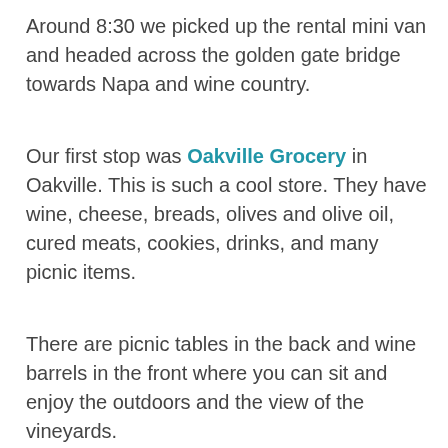Around 8:30 we picked up the rental mini van and headed across the golden gate bridge towards Napa and wine country.
Our first stop was Oakville Grocery in Oakville. This is such a cool store. They have wine, cheese, breads, olives and olive oil, cured meats, cookies, drinks, and many picnic items.
There are picnic tables in the back and wine barrels in the front where you can sit and enjoy the outdoors and the view of the vineyards.
[Figure (photo): Photo of the Oakville Grocery store exterior showing a large Coca-Cola mural advertisement on a red wall saying DRINK Coca-Cola with a bottle, and a GROCERY sign at top, PRODUCE sign visible to the right, with two people standing in front.]